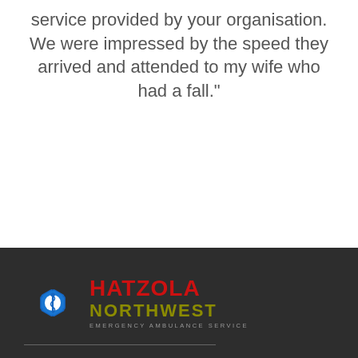service provided by your organisation. We were impressed by the speed they arrived and attended to my wife who had a fall."
[Figure (logo): Hatzola Northwest Emergency Ambulance Service logo: Star of Life symbol in blue with white snake/staff icon, beside red bold text 'HATZOLA' and olive/yellow bold text 'NORTHWEST' with smaller text 'EMERGENCY AMBULANCE SERVICE' below]